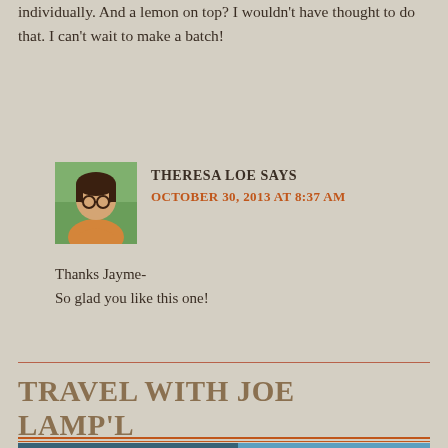individually. And a lemon on top? I wouldn't have thought to do that. I can't wait to make a batch!
THERESA LOE SAYS
OCTOBER 30, 2013 AT 8:37 AM
Thanks Jayme-
So glad you like this one!
TRAVEL WITH JOE LAMP'L
[Figure (photo): Photo of Italian lakeside scenery with mountains, text overlay reading 'TOUR THE GARDENS OF ITALY & FRANCE', 'Travel with Joe Lamp'l', 'SEPTEMBER 17 – 27, 2023']